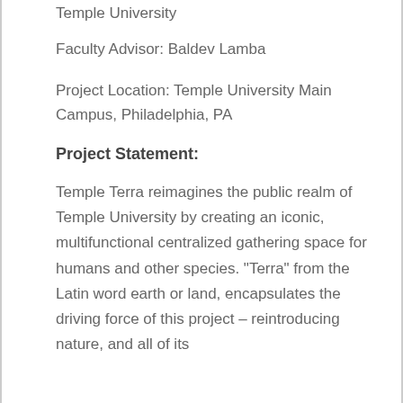Temple University
Faculty Advisor: Baldev Lamba
Project Location: Temple University Main Campus, Philadelphia, PA
Project Statement:
Temple Terra reimagines the public realm of Temple University by creating an iconic, multifunctional centralized gathering space for humans and other species. “Terra” from the Latin word earth or land, encapsulates the driving force of this project – reintroducing nature, and all of its